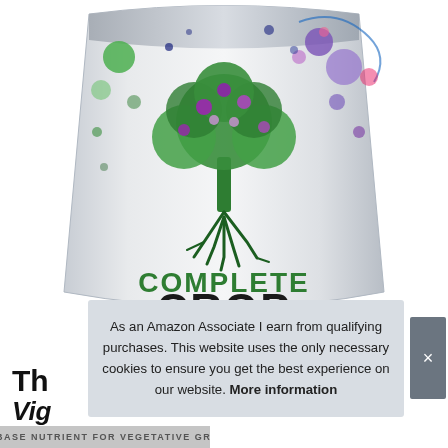[Figure (photo): Product photo of a silver/white mylar bag of 'Complete Crop All-In-One Base Nutrient 9-5-15' by Element Nutrients. The bag features a green tree illustration with roots and purple flowers, colorful bubbles/circles in the background, bold green and black text. Net Weight 1KG (35.3oz), Water Soluble CONCENTRATE.]
As an Amazon Associate I earn from qualifying purchases. This website uses the only necessary cookies to ensure you get the best experience on our website. More information
Th
Vig